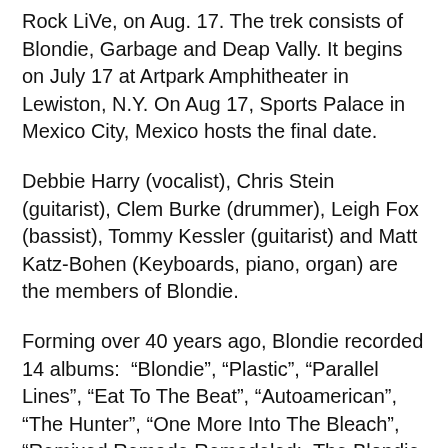Rock LiVe, on Aug. 17. The trek consists of Blondie, Garbage and Deap Vally. It begins on July 17 at Artpark Amphitheater in Lewiston, N.Y. On Aug 17, Sports Palace in Mexico City, Mexico hosts the final date.
Debbie Harry (vocalist), Chris Stein (guitarist), Clem Burke (drummer), Leigh Fox (bassist), Tommy Kessler (guitarist) and Matt Katz-Bohen (Keyboards, piano, organ) are the members of Blondie.
Forming over 40 years ago, Blondie recorded 14 albums: “Blondie”, “Plastic”, “Parallel Lines”, “Eat To The Beat”, “Autoamerican”, “The Hunter”, “One More Into The Bleach”, “Remixed Remade Remodeled: The Blondie Remix Project”, “Picture This Live”, “Live”, “Panic of Girls”, “Blondie 4(O)-Ever: Greatest Hits Deluxe Redux”/“Ghosts of